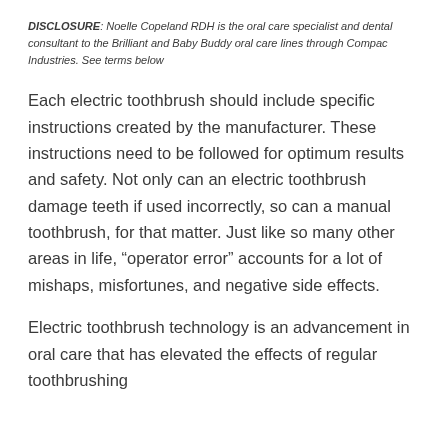DISCLOSURE: Noelle Copeland RDH is the oral care specialist and dental consultant to the Brilliant and Baby Buddy oral care lines through Compac Industries. See terms below
Each electric toothbrush should include specific instructions created by the manufacturer. These instructions need to be followed for optimum results and safety. Not only can an electric toothbrush damage teeth if used incorrectly, so can a manual toothbrush, for that matter. Just like so many other areas in life, “operator error” accounts for a lot of mishaps, misfortunes, and negative side effects.
Electric toothbrush technology is an advancement in oral care that has elevated the effects of regular toothbrushing